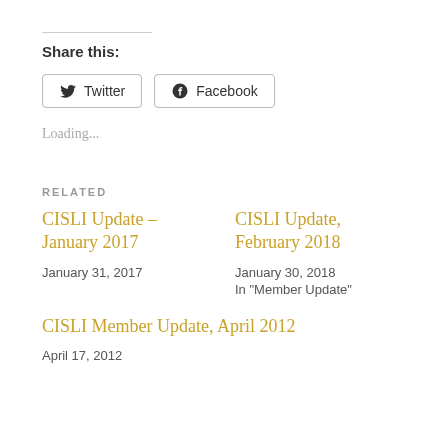Share this:
Twitter  Facebook
Loading...
RELATED
CISLI Update – January 2017
January 31, 2017
CISLI Update, February 2018
January 30, 2018
In "Member Update"
CISLI Member Update, April 2012
April 17, 2012